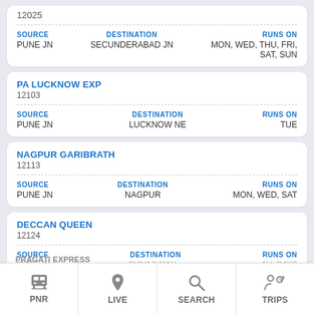12025
SOURCE: PUNE JN | DESTINATION: SECUNDERABAD JN | RUNS ON: MON, WED, THU, FRI, SAT, SUN
PA LUCKNOW EXP
12103
SOURCE: PUNE JN | DESTINATION: LUCKNOW NE | RUNS ON: TUE
NAGPUR GARIBRATH
12113
SOURCE: PUNE JN | DESTINATION: NAGPUR | RUNS ON: MON, WED, SAT
DECCAN QUEEN
12124
SOURCE | DESTINATION | RUNS ON
PUNE JN | SHIVAJI MAH... | ALL DAYS
PRAGATI EXPRESS
PNR | LIVE | SEARCH | TRIPS